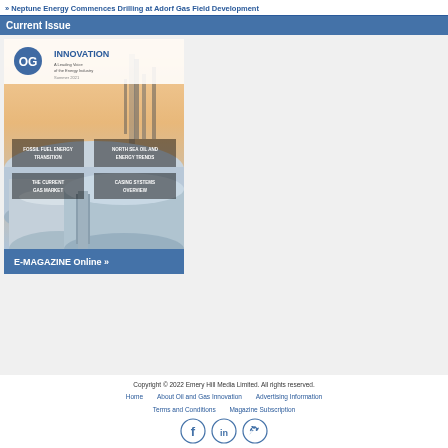» Neptune Energy Commences Drilling at Adorf Gas Field Development
Current Issue
[Figure (illustration): Oil and Gas Innovation magazine cover showing industrial pipelines in foreground with text overlays including article headlines and the OGI Innovation logo. Features a sunset/industrial background.]
E-MAGAZINE Online »
Copyright © 2022 Emery Hill Media Limited. All rights reserved.
Home   About Oil and Gas Innovation   Advertising Information
Terms and Conditions   Magazine Subscription